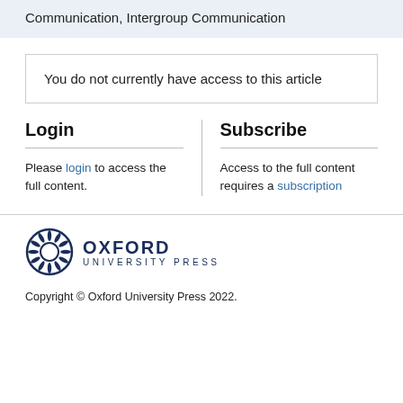Communication, Intergroup Communication
You do not currently have access to this article
Login
Please login to access the full content.
Subscribe
Access to the full content requires a subscription
[Figure (logo): Oxford University Press logo with circular feather/leaf emblem and bold text 'OXFORD UNIVERSITY PRESS']
Copyright © Oxford University Press 2022.